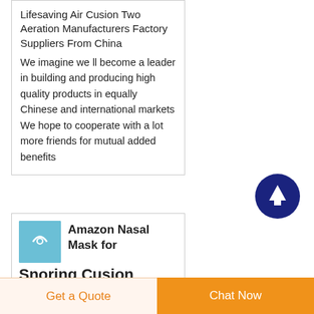Lifesaving Air Cusion Two Aeration Manufacturers Factory Suppliers From China
We imagine we ll become a leader in building and producing high quality products in equally Chinese and international markets We hope to cooperate with a lot more friends for mutual added benefits
[Figure (other): Dark blue circular button with white upward arrow, used as a scroll-to-top navigation element]
[Figure (photo): Small product thumbnail image with blue background showing a nasal mask/tube product]
Amazon Nasal Mask for Snoring Cusion
Get a Quote | Chat Now